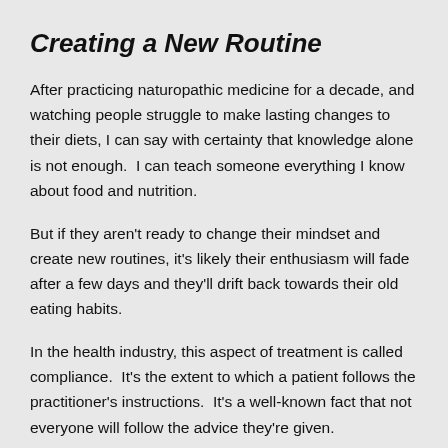Creating a New Routine
After practicing naturopathic medicine for a decade, and watching people struggle to make lasting changes to their diets, I can say with certainty that knowledge alone is not enough.  I can teach someone everything I know about food and nutrition.
But if they aren't ready to change their mindset and create new routines, it's likely their enthusiasm will fade after a few days and they'll drift back towards their old eating habits.
In the health industry, this aspect of treatment is called compliance.  It's the extent to which a patient follows the practitioner's instructions.  It's a well-known fact that not everyone will follow the advice they're given.